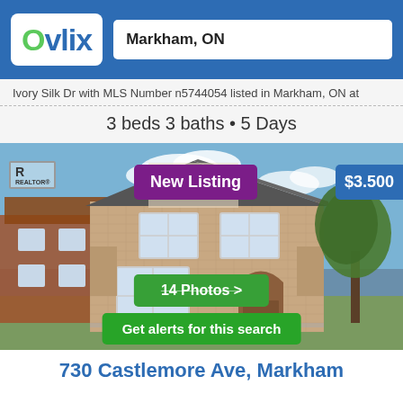Ovlix — Markham, ON
Ivory Silk Dr with MLS Number n5744054 listed in Markham, ON at
3 beds 3 baths • 5 Days
[Figure (photo): Exterior photo of a two-storey brick detached house in Markham. Labels: 'New Listing' badge (purple), '$3.500' price badge (blue), '14 Photos >' button (green), 'Get alerts for this search' button (green), REALTOR logo top-left.]
730 Castlemore Ave, Markham